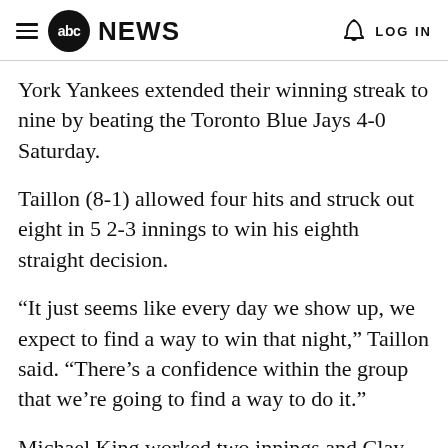abc NEWS  LOG IN
York Yankees extended their winning streak to nine by beating the Toronto Blue Jays 4-0 Saturday.
Taillon (8-1) allowed four hits and struck out eight in 5 2-3 innings to win his eighth straight decision.
“It just seems like every day we show up, we expect to find a way to win that night,” Taillon said. “There’s a confidence within the group that we’re going to find a way to do it.”
Michael King worked two innings and Clay Holmes got the final four outs.